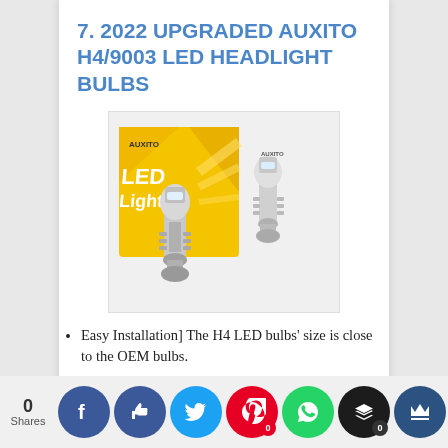7. 2022 UPGRADED AUXITO H4/9003 LED HEADLIGHT BULBS
[Figure (photo): Product photo of AUXITO H4/9003 LED headlight bulbs with yellow branded box showing 'LED Light' text and two silver LED bulbs]
Easy Installation] The H4 LED bulbs' size is close to the OEM bulbs.
600% Brightness Improved] The AUXITO upgraded LED bulbs o pear bulbs at 100 per
0 Shares | Facebook | Like | Twitter | Pinterest 0 | WhatsApp | Buffer 0 | Crown